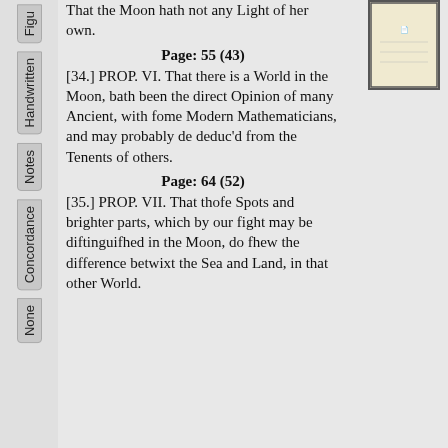[Figure (illustration): Old book page illustration showing faint text/diagram, yellowed paper with dark border]
That the Moon hath not any Light of her own.
Page: 55 (43)
[34.] PROP. VI. That there is a World in the Moon, bath been the direct Opinion of many Ancient, with fome Modern Mathematicians, and may probably de deduc'd from the Tenents of others.
Page: 64 (52)
[35.] PROP. VII. That thofe Spots and brighter parts, which by our fight may be diftinguifhed in the Moon, do fhew the difference betwixt the Sea and Land, in that other World.